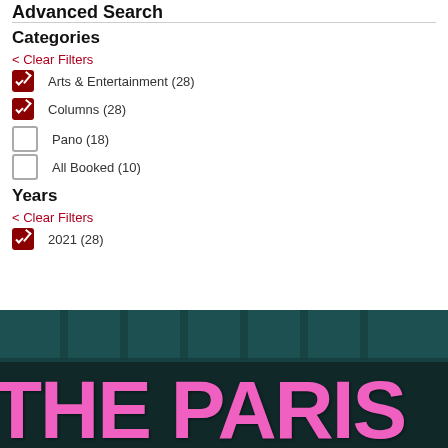Advanced Search
Categories
< Clear Filters
Arts & Entertainment (28)
Columns (28)
Pano (18)
All Booked (10)
Years
< Clear Filters
2021 (28)
[Figure (photo): Photo showing neon pink handwritten text reading 'THE PARIS' on a dark teal building background]